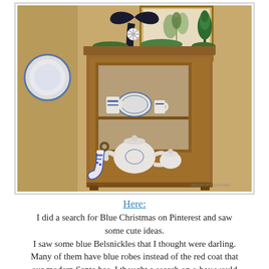[Figure (photo): A wooden display cabinet with glass door, decorated for Christmas with a black velvet ribbon and snowflake ornament on top, greenery, and a small bottle brush tree. Inside the cabinet are blue and white china pieces including a teapot, cups, and dishes. A blue and white Christmas stocking ornament hangs from the cabinet door handle. A botanical print hangs behind the cabinet.]
Here:
I did a search for Blue Christmas on Pinterest and saw some cute ideas. I saw some blue Belsnickles that I thought were darling. Many of them have blue robes instead of the red coat that our modern Santa has. I thought a search on e-bay would